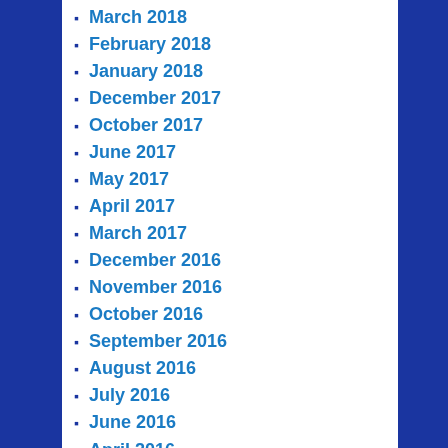March 2018
February 2018
January 2018
December 2017
October 2017
June 2017
May 2017
April 2017
March 2017
December 2016
November 2016
October 2016
September 2016
August 2016
July 2016
June 2016
April 2016
March 2016
February 2016
December 2015
November 2015
October 2015